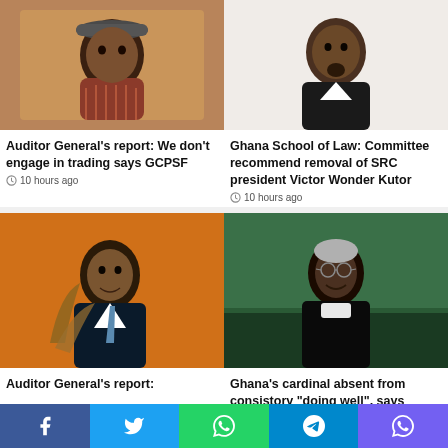[Figure (photo): Man in checkered shirt and cap sitting relaxed]
Auditor General’s report: We don’t engage in trading says GCPSF
10 hours ago
[Figure (photo): Man in suit with goatee against white background]
Ghana School of Law: Committee recommend removal of SRC president Victor Wonder Kutor
10 hours ago
[Figure (photo): Man in dark suit with tie against orange background]
Auditor General’s report:
[Figure (photo): Elderly man in clerical collar smiling]
Ghana’s cardinal absent from consistory “doing well”, says Ghana Catholic